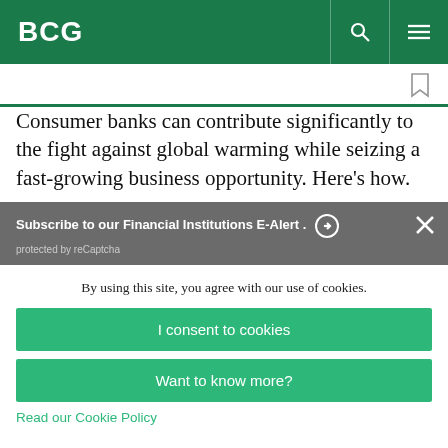BCG
Consumer banks can contribute significantly to the fight against global warming while seizing a fast-growing business opportunity. Here's how.
Subscribe to our Financial Institutions E-Alert .
protected by reCaptcha
By using this site, you agree with our use of cookies.
I consent to cookies
Want to know more?
Read our Cookie Policy